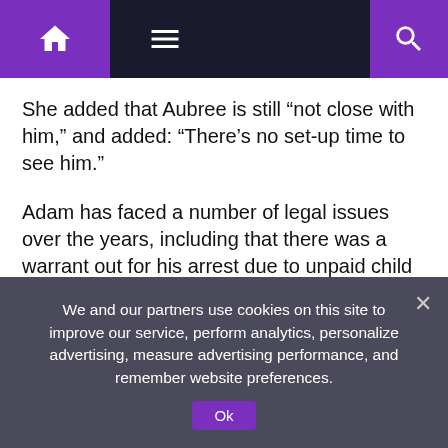Navigation bar with home, menu, and search icons
She added that Aubree is still “not close with him,” and added: “There’s no set-up time to see him.”
Adam has faced a number of legal issues over the years, including that there was a warrant out for his arrest due to unpaid child support for Aubree in March 2021.
The bench warrant exclusively obtained by The Sun claimed Adam “failed to comply with the court’s order for compliance” by “failing to support minor child” in his case with Chelsea.
We and our partners use cookies on this site to improve our service, perform analytics, personalize advertising, measure advertising performance, and remember website preferences.